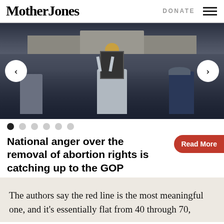Mother Jones | DONATE ☰
[Figure (photo): Protest photo showing crowd with raised fists in front of a government building, one person holding a sign with a portrait. Navigation arrows on left and right sides of slideshow.]
National anger over the removal of abortion rights is catching up to the GOP
Read More
The authors say the red line is the most meaningful one, and it's essentially flat from 40 through 70,